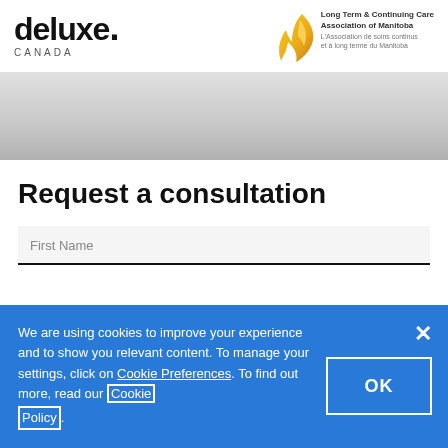[Figure (logo): Deluxe Canada logo — wordmark 'deluxe.' with 'CANADA' below in spaced caps]
[Figure (logo): Long Term & Continuing Care Association of Manitoba logo with yellow/gold flame graphic and bilingual text]
[Figure (photo): Gray gradient banner image area]
Request a consultation
First Name
We are using cookies to improve your experience and to show you relevant content. To manage your settings, click on Cookie Preferences. To find out more, read our Cookie Policy.